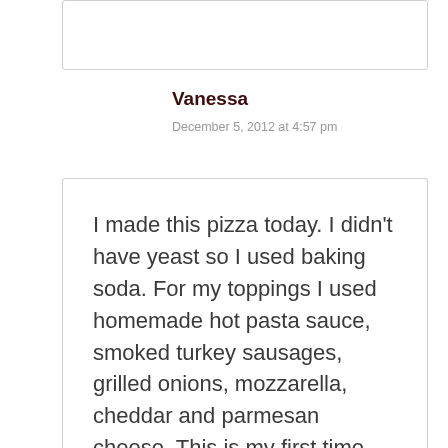Vanessa
December 5, 2012 at 4:57 pm
I made this pizza today. I didn't have yeast so I used baking soda. For my toppings I used homemade hot pasta sauce, smoked turkey sausages, grilled onions, mozzarella, cheddar and parmesan cheese. This is my first time making pizza and my bf doesn't believe I've never made pizza before! Delicious. I'm going to continue with